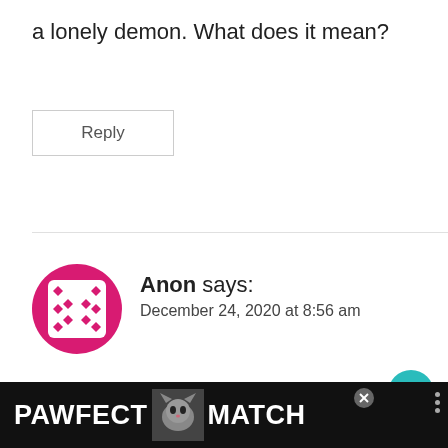a lonely demon. What does it mean?
Reply
[Figure (illustration): User avatar: pink/magenta circle with a white square and diamond pattern (dice-like dots)]
Anon says:
December 24, 2020 at 8:56 am
Hi,
Last night I had a dream of being attacked
[Figure (photo): Advertisement banner: PAWFECT MATCH with a cat photo, on dark/black background]
281